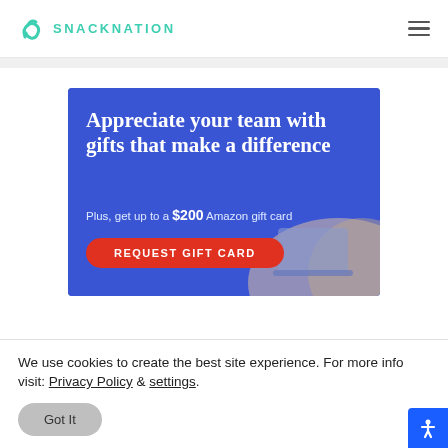SNACKNATION
[Figure (illustration): SnackNation advertisement banner with blue background. Large serif white bold text reads 'Appreciate your team with gifts that make a difference'. Below: 'Plus, get up to a $200 Amazon gift card'. Red rounded button with text 'REQUEST GIFT CARD'. Decorative illustrated gift box/laptop bottom-right.]
We use cookies to create the best site experience. For more info visit: Privacy Policy & settings.
Got It